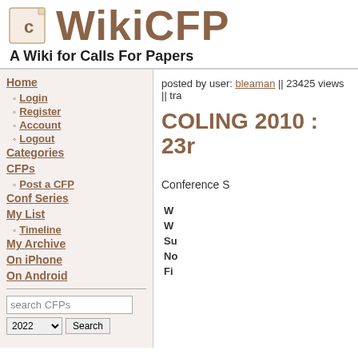WikiCFP — A Wiki for Calls For Papers
posted by user: bleaman || 23425 views || tra
COLING 2010 : 23r
Conference S
Home
Login
Register
Account
Logout
Categories
CFPs
Post a CFP
Conf Series
My List
Timeline
My Archive
On iPhone
On Android